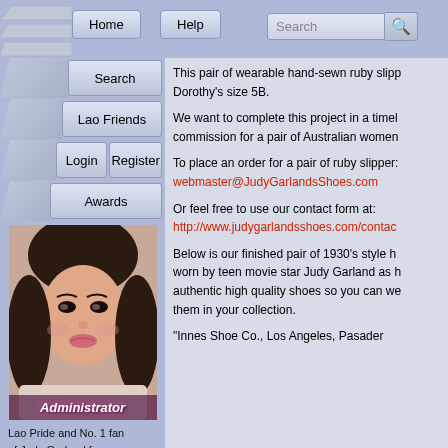Navigation bar with Home, Help, Search, Lao Friends, Login, Register, Awards buttons and Search input
[Figure (screenshot): Profile photo of Asian woman labeled Administrator]
Lao Pride and No. 1 fan of Judy Garland from Laos!
Posts: 4582
Vientiane, Laos
Gender: ♀
Age: 33
Awards: 5
This pair of wearable hand-sewn ruby slippers are Dorothy's size 5B.
We want to complete this project in a timely manner commission for a pair of Australian women
To place an order for a pair of ruby slippers:
webmaster@JudyGarlandsShoes.com
Or feel free to use our contact form at:
http://www.judygarlandsshoes.com/contac
Below is our finished pair of 1930's style h worn by teen movie star Judy Garland as h authentic high quality shoes so you can we them in your collection.
"Innes Shoe Co., Los Angeles, Pasader
[Figure (screenshot): Judy Garland's banner/logo at bottom of left panel]